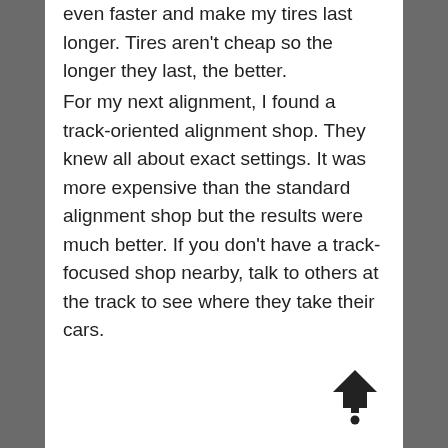even faster and make my tires last longer. Tires aren't cheap so the longer they last, the better.
For my next alignment, I found a track-oriented alignment shop. They knew all about exact settings. It was more expensive than the standard alignment shop but the results were much better. If you don't have a track-focused shop nearby, talk to others at the track to see where they take their cars.
[Figure (illustration): A house/navigation icon with a dot below it, resembling an upward-pointing arrow with a circular top, in dark/black color]